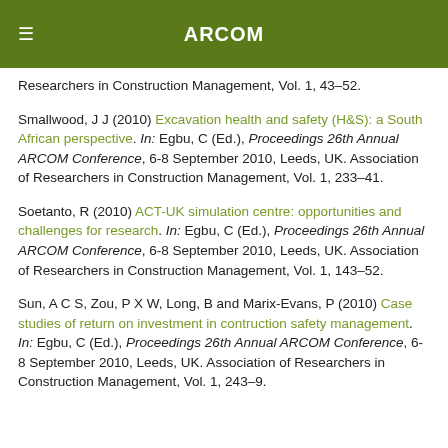ARCOM
Researchers in Construction Management, Vol. 1, 43–52.
Smallwood, J J (2010) Excavation health and safety (H&S): a South African perspective. In: Egbu, C (Ed.), Proceedings 26th Annual ARCOM Conference, 6-8 September 2010, Leeds, UK. Association of Researchers in Construction Management, Vol. 1, 233–41.
Soetanto, R (2010) ACT-UK simulation centre: opportunities and challenges for research. In: Egbu, C (Ed.), Proceedings 26th Annual ARCOM Conference, 6-8 September 2010, Leeds, UK. Association of Researchers in Construction Management, Vol. 1, 143–52.
Sun, A C S, Zou, P X W, Long, B and Marix-Evans, P (2010) Case studies of return on investment in contruction safety management. In: Egbu, C (Ed.), Proceedings 26th Annual ARCOM Conference, 6-8 September 2010, Leeds, UK. Association of Researchers in Construction Management, Vol. 1, 243–9.